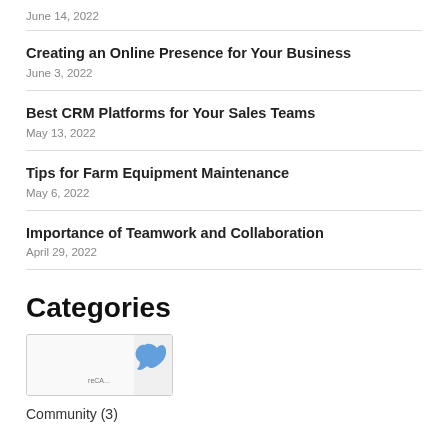June 14, 2022
Creating an Online Presence for Your Business
June 3, 2022
Best CRM Platforms for Your Sales Teams
May 13, 2022
Tips for Farm Equipment Maintenance
May 6, 2022
Importance of Teamwork and Collaboration
April 29, 2022
Categories
[Figure (other): reCAPTCHA widget partially visible]
Community (3)